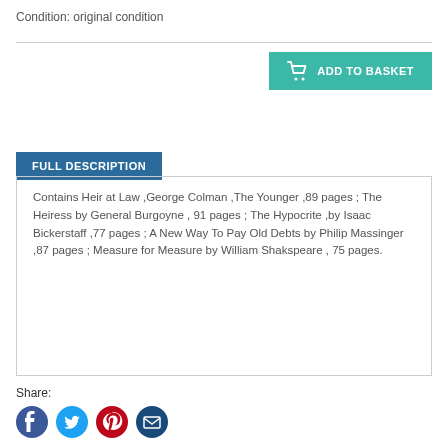Condition: original condition
[Figure (other): Add to Basket button with shopping cart icon, teal background]
FULL DESCRIPTION
Contains Heir at Law ,George Colman ,The Younger ,89 pages ; The Heiress by General Burgoyne , 91 pages ; The Hypocrite ,by Isaac Bickerstaff ,77 pages ; A New Way To Pay Old Debts by Philip Massinger ,87 pages ; Measure for Measure by William Shakspeare , 75 pages.
Share:
[Figure (other): Social media share icons: Facebook (blue circle), Twitter (blue circle), Pinterest (red circle), Email (dark blue circle)]